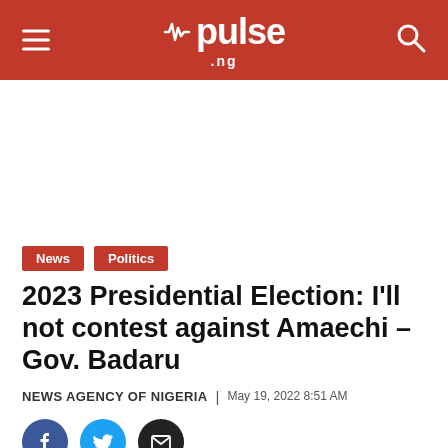pulse .ng
[Figure (other): Advertisement / blank white space placeholder]
News | Politics
2023 Presidential Election: I'll not contest against Amaechi – Gov. Badaru
NEWS AGENCY OF NIGERIA | May 19, 2022 8:51 AM
[Figure (other): Social share buttons: Facebook, Twitter, Email]